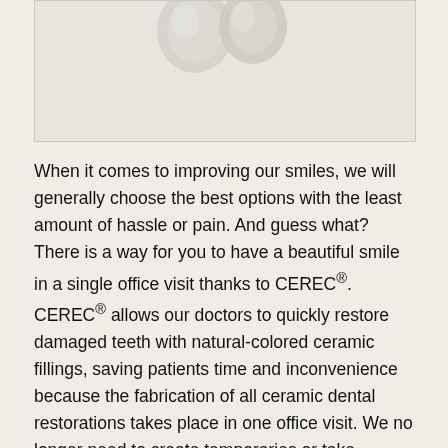[Figure (illustration): Partial image of tooth/dental prosthetic in light gray tones at top of page]
When it comes to improving our smiles, we will generally choose the best options with the least amount of hassle or pain. And guess what? There is a way for you to have a beautiful smile in a single office visit thanks to CEREC®.
CEREC® allows our doctors to quickly restore damaged teeth with natural-colored ceramic fillings, saving patients time and inconvenience because the fabrication of all ceramic dental restorations takes place in one office visit. We no longer need to create temporaries or take impressions and send them to a lab. Because of this, the traditional second visit has been eliminated. Imagine that – you are in and out with a permanent, all-ceramic dental crown, onlay, or veneer. Fewer injections, less